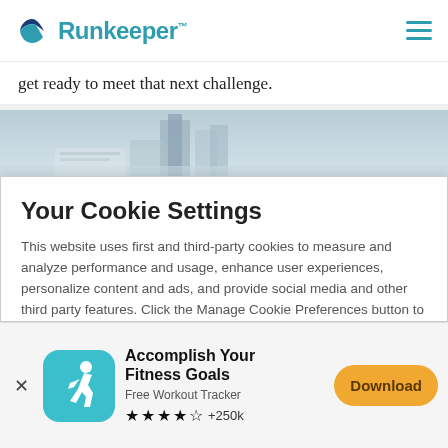Runkeeper™
get ready to meet that next challenge.
[Figure (photo): Cityscape photo with buildings in a grey sky background]
Your Cookie Settings
This website uses first and third-party cookies to measure and analyze performance and usage, enhance user experiences, personalize content and ads, and provide social media and other third party features. Click the Manage Cookie Preferences button to view or change your cookie preferences for this website. Read our Cookie Policy here for
Accomplish Your Fitness Goals
Free Workout Tracker
★★★★☆ +250k
Download